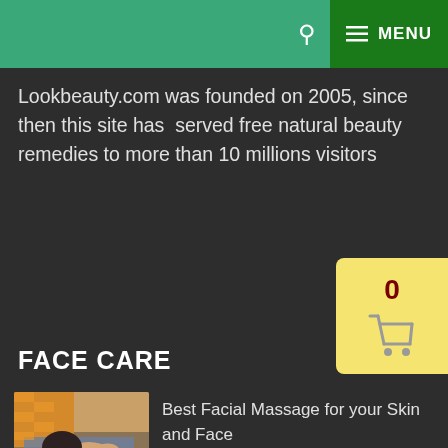MENU
Lookbeauty.com was founded on 2005, since then this site has served free natural beauty remedies to more than 10 millions visitors
FACE CARE
[Figure (photo): Person lying down receiving a facial massage]
Best Facial Massage for your Skin and Face
[Figure (photo): Olive oil in bowls with olives on white background]
Dry face facial clean oily face deep facial clean tips